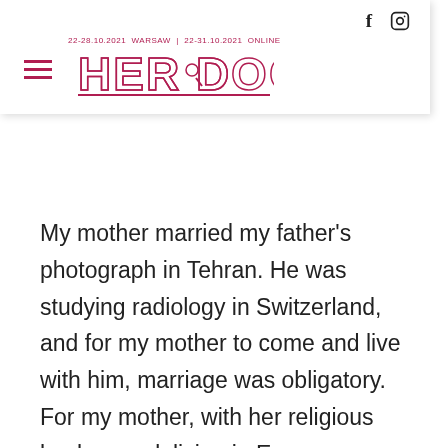[Figure (logo): HER DOCS festival logo with hamburger menu, social icons (Facebook, Instagram), date text '22-28.10.2021 Warsaw | 22-31.10.2021 Online', and the text HER DOCS in outlined bold crimson letters]
My mother married my father's photograph in Tehran. He was studying radiology in Switzerland, and for my mother to come and live with him, marriage was obligatory. For my mother, with her religious background, living in Europe was a challenge. Sin was everywhere. My father came from a liberal and secular family. He was a lover